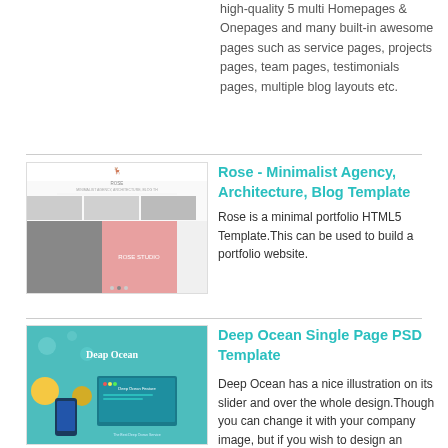high-quality 5 multi Homepages & Onepages and many built-in awesome pages such as service pages, projects pages, team pages, testimonials pages, multiple blog layouts etc.
[Figure (screenshot): Rose - Minimalist Agency, Architecture, Blog Template screenshot showing website mockup with antler logo and pink studio section]
Rose - Minimalist Agency, Architecture, Blog Template
Rose is a minimal portfolio HTML5 Template.This can be used to build a portfolio website.
[Figure (screenshot): Deep Ocean Single Page PSD Template screenshot showing teal/blue design with illustration and mobile mock]
Deep Ocean Single Page PSD Template
Deep Ocean has a nice illustration on its slider and over the whole design.Though you can change it with your company image, but if you wish to design an illustration with